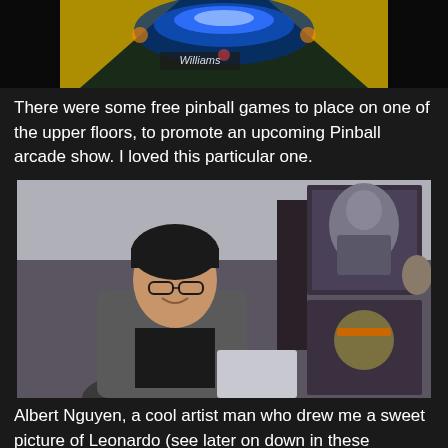[Figure (photo): Top portion of a pinball machine with Williams branding, lit up with blue and yellow lights, viewed from above]
There were some free pinball games to place on one of the upper floors, to promote an upcoming Pinball arcade show. I loved this particular one.
[Figure (photo): Albert Nguyen, a young man with glasses and short dark hair wearing a red lanyard and grey hoodie, smiling at a convention booth displaying dark fantasy artwork of Teenage Mutant Ninja Turtles characters]
Albert Nguyen, a cool artist man who drew me a sweet picture of Leonardo (see later on down in these